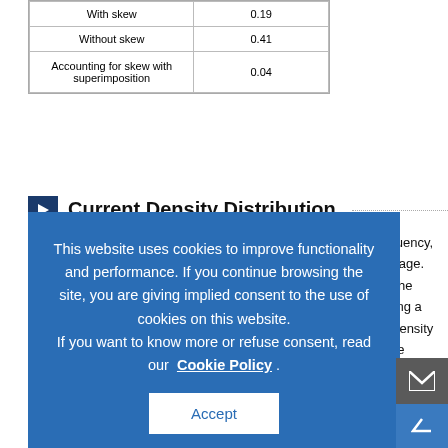|  |  |
| --- | --- |
| With skew | 0.19 |
| Without skew | 0.41 |
| Accounting for skew with superimposition | 0.04 |
Current Density Distribution
...versus frequency, on of the cage. duced by the ced by using a y current density ations have
This website uses cookies to improve functionality and performance. If you continue browsing the site, you are giving implied consent to the use of cookies on this website. If you want to know more or refuse consent, read our Cookie Policy . Accept